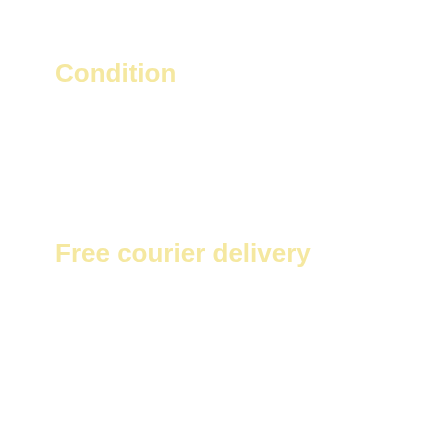Condition
Free courier delivery